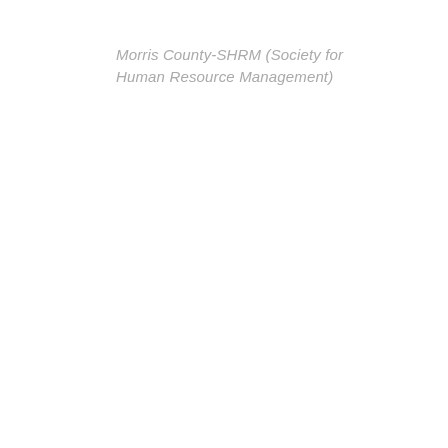Morris County-SHRM (Society for Human Resource Management)